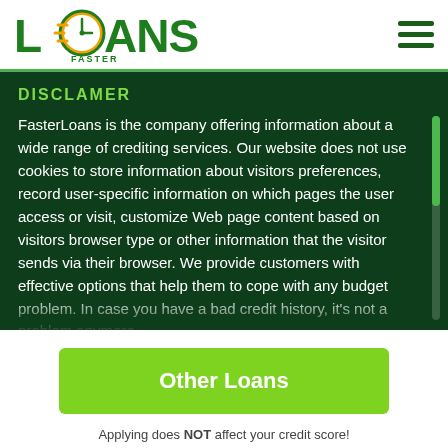[Figure (logo): FasterLoans logo — green text with clock icon integrated into letter O]
DISCLAMER
FasterLoans is the company offering information about a wide range of crediting services. Our website does not use cookies to store information about visitors preferences, record user-specific information on which pages the user access or visit, customize Web page content based on visitors browser type or other information that the visitor sends via their browser. We provide customers with effective options that help them to cope with any budget problem. In case you have a bad credit history, it's not a problem anymore
Other Loans
Applying does NOT affect your credit score!
No credit check to apply.